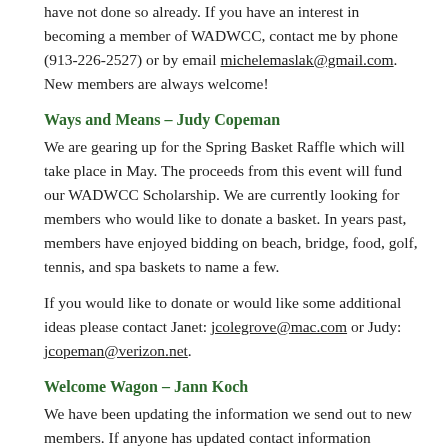have not done so already. If you have an interest in becoming a member of WADWCC, contact me by phone (913-226-2527) or by email michelemaslak@gmail.com. New members are always welcome!
Ways and Means – Judy Copeman
We are gearing up for the Spring Basket Raffle which will take place in May. The proceeds from this event will fund our WADWCC Scholarship. We are currently looking for members who would like to donate a basket. In years past, members have enjoyed bidding on beach, bridge, food, golf, tennis, and spa baskets to name a few.
If you would like to donate or would like some additional ideas please contact Janet: jcolegrove@mac.com or Judy: jcopeman@verizon.net.
Welcome Wagon – Jann Koch
We have been updating the information we send out to new members. If anyone has updated contact information